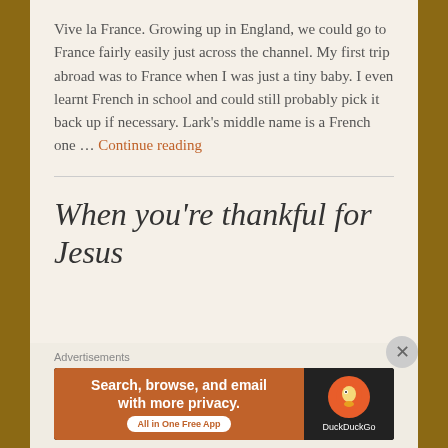Vive la France. Growing up in England, we could go to France fairly easily just across the channel. My first trip abroad was to France when I was just a tiny baby. I even learnt French in school and could still probably pick it back up if necessary. Lark's middle name is a French one … Continue reading
When you're thankful for Jesus
[Figure (screenshot): DuckDuckGo advertisement banner: orange left panel reading 'Search, browse, and email with more privacy. All in One Free App' with a white pill button, and dark right panel with DuckDuckGo duck logo and brand name.]